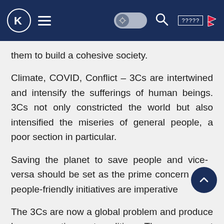K ☰ [settings toggle] [search] ????? [flag]
them to build a cohesive society.
Climate, COVID, Conflict – 3Cs are intertwined and intensify the sufferings of human beings. 3Cs not only constricted the world but also intensified the miseries of general people, a poor section in particular.
Saving the planet to save people and vice-versa should be set as the prime concern and people-friendly initiatives are imperative
The 3Cs are now a global problem and produce huge negative externalities. These are not problems of only those originating